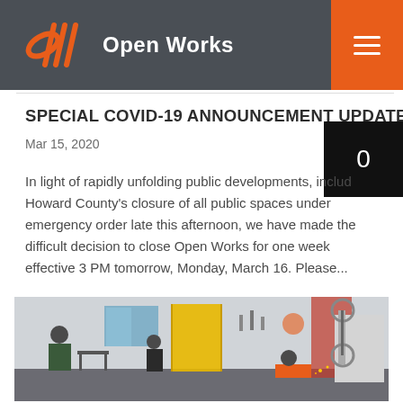Open Works
SPECIAL COVID-19 ANNOUNCEMENT UPDATE
Mar 15, 2020
In light of rapidly unfolding public developments, including Howard County's closure of all public spaces under emergency order late this afternoon, we have made the difficult decision to close Open Works for one week effective 3 PM tomorrow, Monday, March 16. Please...
[Figure (photo): Workshop space with people working, yellow welding curtain, machinery including a band saw, tools on the wall]